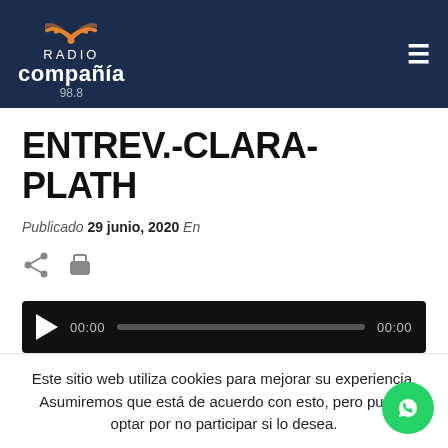[Figure (logo): Radio Compañía 98.8 logo with wifi icon on dark navy header, with hamburger menu icon on the right]
ENTREV.-CLARA-PLATH
Publicado 29 junio, 2020  En
[Figure (other): Share and print icons]
[Figure (other): Audio player with play button, 00:00 timestamps and progress bar on black background]
Este sitio web utiliza cookies para mejorar su experiencia. Asumiremos que está de acuerdo con esto, pero puede optar por no participar si lo desea.
+ info   ACEPTAR